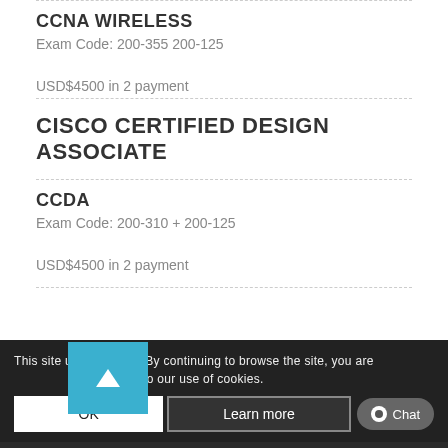CCNA WIRELESS
Exam Code: 200-355 200-125
USD$4500 in 2 payment
CISCO CERTIFIED DESIGN ASSOCIATE
CCDA
Exam Code: 200-310 + 200-125
USD$4500 in 2 payment
CISCO CERTIFICATION
CISCO CERTIFIED NETWORK PROFESSIONAL
This site uses cookies. By continuing to browse the site, you are agreeing to our use of cookies.
OK
Learn more
Chat